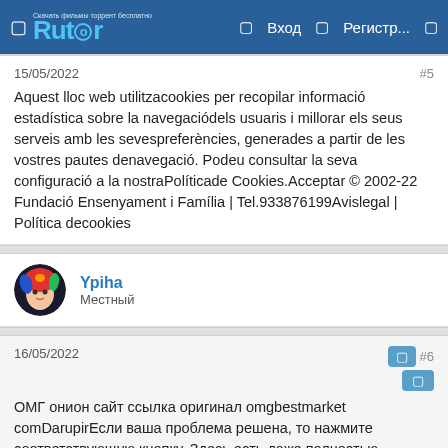Rutor — Вход — Регистр...
15/05/2022   #5
Aquest lloc web utilitzacookies per recopilar informació estadística sobre la navegaciódels usuaris i millorar els seus serveis amb les sevespreferències, generades a partir de les vostres pautes denavegació. Podeu consultar la seva configuració a la nostraPolíticade Cookies.Acceptar © 2002-22 Fundació Ensenyament i Família | Tel.933876199Avislegal | Política decookies
Ypiha
Местный
16/05/2022   #6
ОМГ онион сайт ссылка оригинал omgbestmarket comDarupirЕсли ваша проблема решена, то нажмите соответствующую кнопку. Здесь есть даже полностью